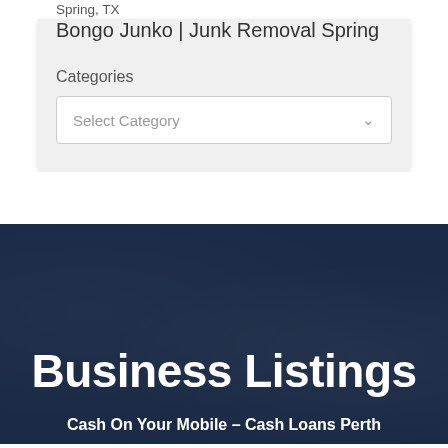Spring, TX
Bongo Junko | Junk Removal Spring
Categories
Select Category
Business Listings
Cash On Your Mobile – Cash Loans Perth